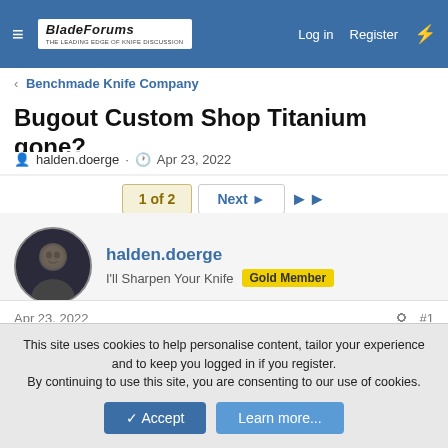BladeForums · THE LEADING EDGE OF KNIFE DISCUSSION | Log in | Register
< Benchmade Knife Company
Bugout Custom Shop Titanium gone?
halden.doerge · Apr 23, 2022
1 of 2 | Next ▶ | ▶▶
halden.doerge
I'll Sharpen Your Knife  Gold Member
Apr 23, 2022  #1
I was messing around on the Custom Shop today and noticed that the TI scales no longer showed up as an option. Anyone
This site uses cookies to help personalise content, tailor your experience and to keep you logged in if you register.
By continuing to use this site, you are consenting to our use of cookies.
✓ Accept   Learn more...